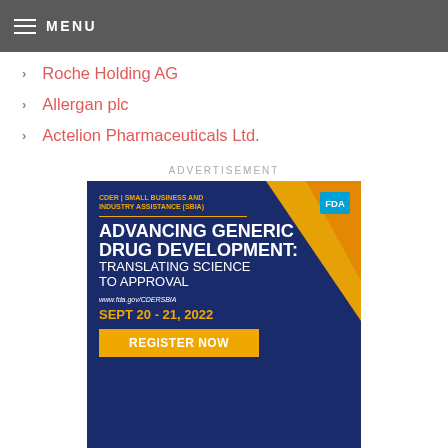MENU
Roche Holding AG
Allergan plc
Actelion Pharmaceuticals Ltd.
ADVERTISEMENT
[Figure (infographic): FDA CDER Small Business and Industry Assistance (SBIA) advertisement for 'Advancing Generic Drug Development: Translating Science to Approval' conference, Sept 20-21, 2022, with Register Now button and www.fda.gov/CDERSBIA URL.]